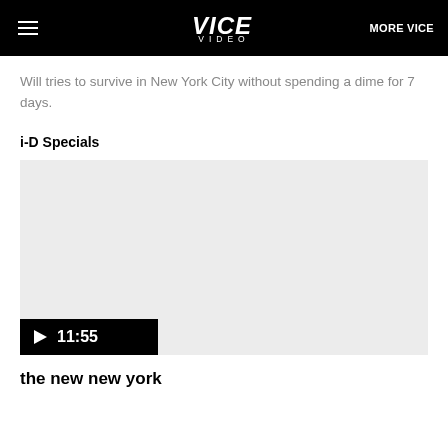VICE VIDEO | MORE VICE
Will tries to survive in New York City without spending a dime for 7 days.
i-D Specials
[Figure (screenshot): Video thumbnail placeholder (light gray) with black play bar showing play button triangle and duration 11:55]
the new new york